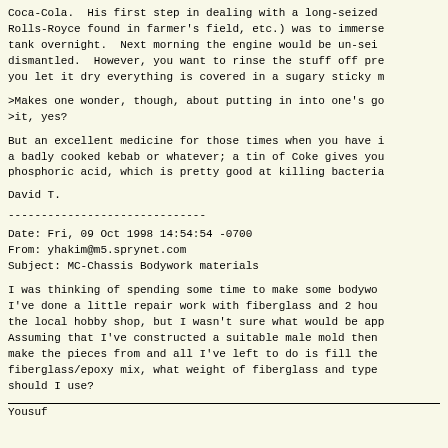Coca-Cola.  His first step in dealing with a long-seized Rolls-Royce found in farmer's field, etc.) was to immerse tank overnight.  Next morning the engine would be un-sei dismantled.  However, you want to rinse the stuff off pre you let it dry everything is covered in a sugary sticky m
>Makes one wonder, though, about putting in into one's go
>it, yes?
But an excellent medicine for those times when you have i a badly cooked kebab or whatever; a tin of Coke gives you phosphoric acid, which is pretty good at killing bacteria
David T.
------------------------------
Date: Fri, 09 Oct 1998 14:54:54 -0700
From: yhakim@m5.sprynet.com
Subject: MC-Chassis Bodywork materials
I was thinking of spending some time to make some bodywo I've done a little repair work with fiberglass and 2 hou the local hobby shop, but I wasn't sure what would be app Assuming that I've constructed a suitable male mold then make the pieces from and all I've left to do is fill the fiberglass/epoxy mix, what weight of fiberglass and type should I use?
Yousuf